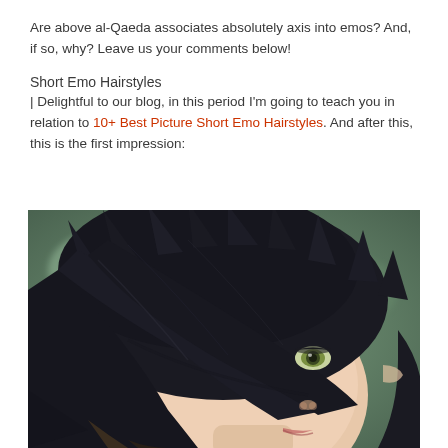Are above al-Qaeda associates absolutely axis into emos? And, if so, why? Leave us your comments below!
Short Emo Hairstyles
| Delightful to our blog, in this period I'm going to teach you in relation to 10+ Best Picture Short Emo Hairstyles. And after this, this is the first impression:
[Figure (photo): Close-up portrait of a young person with short dark emo hairstyle featuring long side-swept bangs covering part of the face, with visible green eye and pale skin against a blurred green background.]